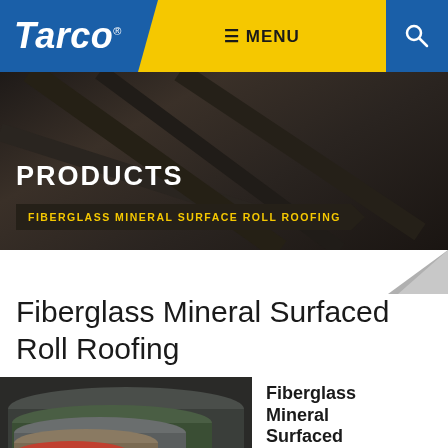Tarco | ≡ MENU
[Figure (screenshot): Tarco website navigation bar with blue logo, yellow menu button, and search icon]
PRODUCTS
FIBERGLASS MINERAL SURFACE ROLL ROOFING
Fiberglass Mineral Surfaced Roll Roofing
[Figure (photo): Rolled roofing material products in multiple colors (grey, green, brown, red) stacked and overlapping]
Fiberglass Mineral Surfaced Roll